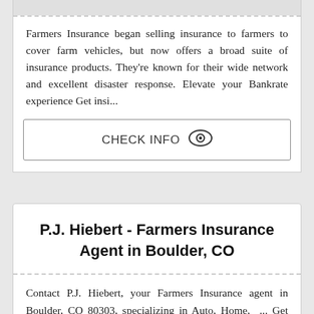Farmers Insurance began selling insurance to farmers to cover farm vehicles, but now offers a broad suite of insurance products. They're known for their wide network and excellent disaster response. Elevate your Bankrate experience Get insi...
CHECK INFO
P.J. Hiebert - Farmers Insurance Agent in Boulder, CO
Contact P.J. Hiebert, your Farmers Insurance agent in Boulder, CO 80303, specializing in Auto, Home, ... Get Connected with Farmers® and ADT™ — and Save.